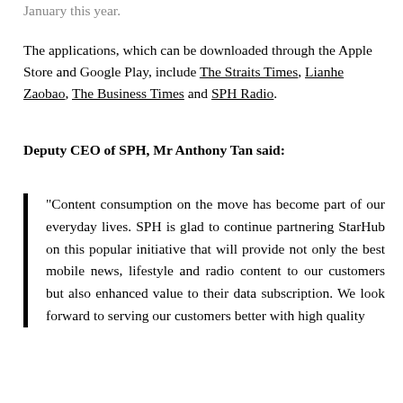January this year.
The applications, which can be downloaded through the Apple Store and Google Play, include The Straits Times, Lianhe Zaobao, The Business Times and SPH Radio.
Deputy CEO of SPH, Mr Anthony Tan said:
“Content consumption on the move has become part of our everyday lives. SPH is glad to continue partnering StarHub on this popular initiative that will provide not only the best mobile news, lifestyle and radio content to our customers but also enhanced value to their data subscription. We look forward to serving our customers better with high quality